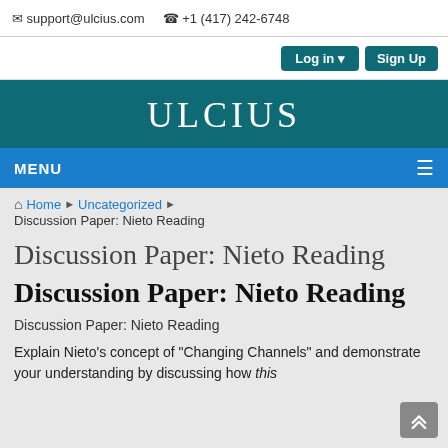✉ support@ulcius.com  ✆ +1 (417) 242-6748
Log in ▼  Sign Up
ULCIUS
MENU
Home ▶ Uncategorized ▶ Discussion Paper: Nieto Reading
Discussion Paper: Nieto Reading
Discussion Paper: Nieto Reading
Discussion Paper: Nieto Reading
Explain Nieto's concept of "Changing Channels" and demonstrate your understanding by discussing how this